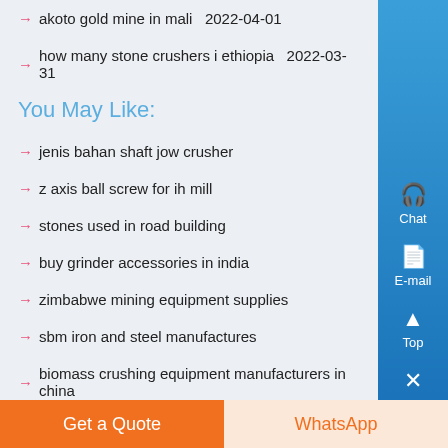akoto gold mine in mali  2022-04-01
how many stone crushers i ethiopia  2022-03-31
You May Like:
jenis bahan shaft jow crusher
z axis ball screw for ih mill
stones used in road building
buy grinder accessories in india
zimbabwe mining equipment supplies
sbm iron and steel manufactures
biomass crushing equipment manufacturers in china
barite mills raymond
chinese chamber of commerce
Get a Quote | WhatsApp